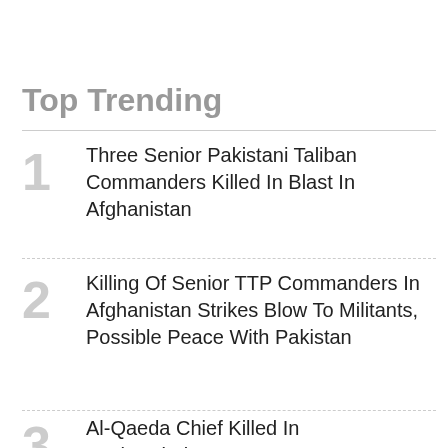Top Trending
1 Three Senior Pakistani Taliban Commanders Killed In Blast In Afghanistan
2 Killing Of Senior TTP Commanders In Afghanistan Strikes Blow To Militants, Possible Peace With Pakistan
3 Al-Qaeda Chief Killed In Posh Kabul Neighborhood Largely Built With U.S. Taxpay...
4 One Ye... Here T...
[Figure (screenshot): Orange arrow button overlay with a popup showing a broken image icon and text: 'We Don't Know Where To Go': Afghan Refugees Forcibly Deported From Tajikistan]